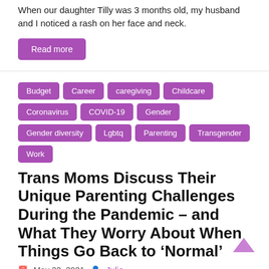When our daughter Tilly was 3 months old, my husband and I noticed a rash on her face and neck.
Read more
Budget
Career
caregiving
Childcare
Coronavirus
COVID-19
Gender
Gender diversity
Lgbtq
Parenting
Transgender
Work
Trans Moms Discuss Their Unique Parenting Challenges During the Pandemic – and What They Worry About When Things Go Back to ‘Normal’
May 22, 2021   Julie
By Derek P. Siegel, University of Massachusetts Amherst Between 25% and 50% of transgender adults in the U.S.